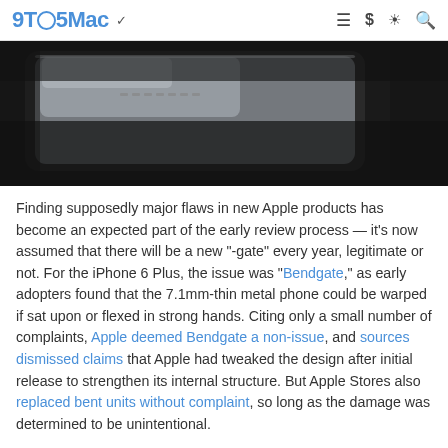9TO5Mac
[Figure (photo): Close-up photo of the back corner of a silver/aluminum iPhone 6 Plus showing the thin metal edge against a dark background]
Finding supposedly major flaws in new Apple products has become an expected part of the early review process — it's now assumed that there will be a new "-gate" every year, legitimate or not. For the iPhone 6 Plus, the issue was "Bendgate," as early adopters found that the 7.1mm-thin metal phone could be warped if sat upon or flexed in strong hands. Citing only a small number of complaints, Apple deemed Bendgate a non-issue, and sources dismissed claims that Apple had tweaked the design after initial release to strengthen its internal structure. But Apple Stores also replaced bent units without complaint, so long as the damage was determined to be unintentional.